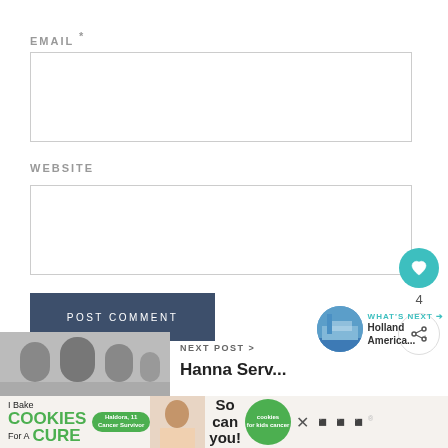EMAIL *
[Figure (other): Email text input field (empty)]
WEBSITE
[Figure (other): Website text input field (empty)]
POST COMMENT
[Figure (other): Heart/like button (teal circle with heart icon), count 4, share button]
[Figure (other): What's Next panel with thumbnail and text: Holland America...]
[Figure (other): Next Post section with thumbnail and 'NEXT POST >']
[Figure (other): Advertisement banner: I Bake COOKIES for a CURE / So can you! / cookies for kids cancer]